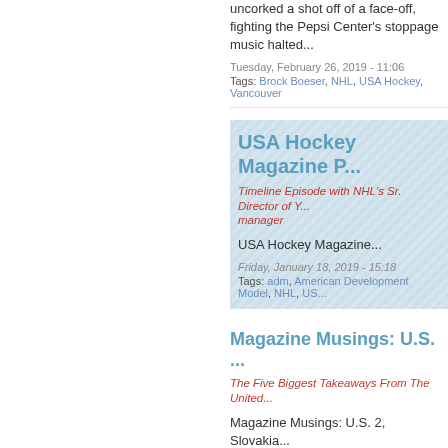uncorked a shot off of a face-off, fighting the Pepsi Center's stoppage music halted...
Tuesday, February 26, 2019 - 11:06
Tags: Brock Boeser, NHL, USA Hockey, Vancouver
USA Hockey Magazine P...
Timeline Episode with NHL's Sr. Director of Y... manager
USA Hockey Magazine...
Friday, January 18, 2019 - 15:18
Tags: adm, American Development Model, NHL, US...
Magazine Musings: U.S. ...
The Five Biggest Takeaways From The United...
Magazine Musings: U.S. 2, Slovakia...
Wednesday, December 26, 2018 - 21:13
Tags: 2019 IIHF World Junior Championship, IIHF, Content
Sydney Brodt Building O... National Team Debut at F...
Brodt Feeling More Settled In After Winter Ca...
When Sydney Brodt descended on Chicag... camp in early November, there was a sen...